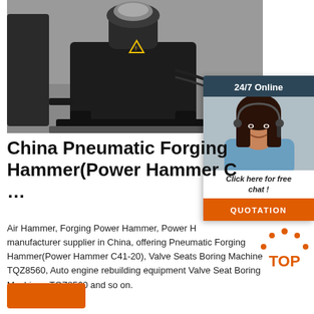[Figure (photo): Photo of a pneumatic forging hammer (power hammer) machine, black industrial equipment on a factory floor]
[Figure (infographic): 24/7 Online chat widget showing a female customer service representative with headset, with 'Click here for free chat!' text and an orange QUOTATION button]
China Pneumatic Forging Hammer(Power Hammer C ...
Air Hammer, Forging Power Hammer, Power Hammer manufacturer supplier in China, offering Pneumatic Forging Hammer(Power Hammer C41-20), Valve Seats Boring Machine TQZ8560, Auto engine rebuilding equipment Valve Seat Boring Machine - TQZ8560 and so on.
[Figure (logo): Orange TOP badge/logo with orange dots arranged in arc above the word TOP]
[Figure (other): Orange button at bottom left, partially visible]